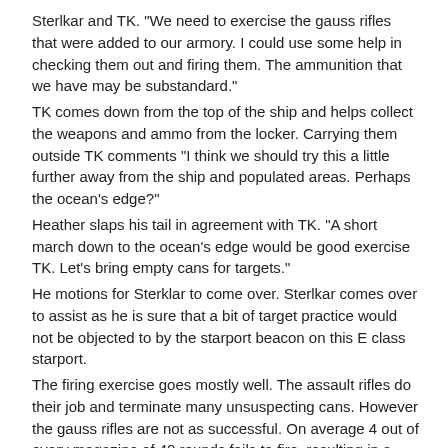Sterlkar and TK. "We need to exercise the gauss rifles that were added to our armory. I could use some help in checking them out and firing them. The ammunition that we have may be substandard."
TK comes down from the top of the ship and helps collect the weapons and ammo from the locker. Carrying them outside TK comments "I think we should try this a little further away from the ship and populated areas. Perhaps the ocean's edge?"
Heather slaps his tail in agreement with TK. "A short march down to the ocean's edge would be good exercise TK. Let's bring empty cans for targets."
He motions for Sterklar to come over. Sterlkar comes over to assist as he is sure that a bit of target practice would not be objected to by the starport beacon on this E class starport.
The firing exercise goes mostly well. The assault rifles do their job and terminate many unsuspecting cans. However the gauss rifles are not as successful. On average 4 out of every magazine of 40 rounds fails to fire, resulting in a combat round require to clear the misfire. There is no way that the troops can see that can identify which will misfire.
TK scratches his chin "The captain will need to know about this."